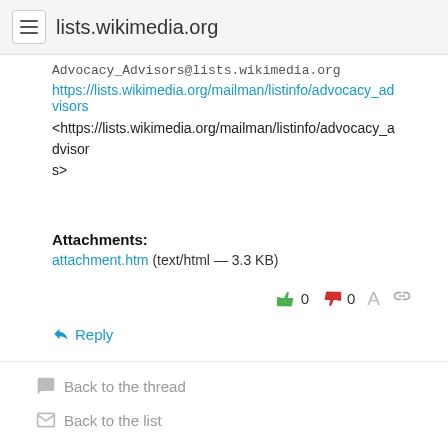lists.wikimedia.org
Advocacy_Advisors@lists.wikimedia.org
https://lists.wikimedia.org/mailman/listinfo/advocacy_advisors
<https://lists.wikimedia.org/mailman/listinfo/advocacy_advisors>
Attachments:
attachment.htm (text/html — 3.3 KB)
0  0
↩ Reply
Back to the thread
Back to the list